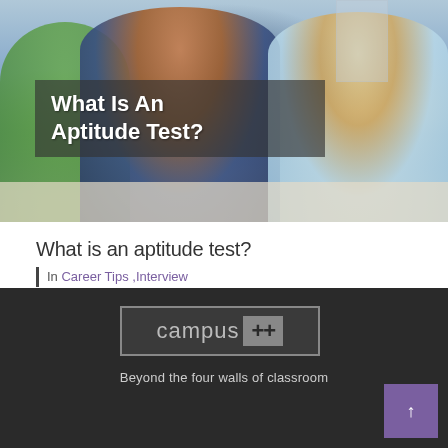[Figure (photo): Hero image showing students sitting at a table studying/writing, with a semi-transparent dark overlay containing the text 'What Is An Aptitude Test?' in white bold font]
What is an aptitude test?
| In Career Tips ,Interview
[Figure (logo): Campus++ logo in a rectangular border on dark background, with tagline 'Beyond the four walls of classroom']